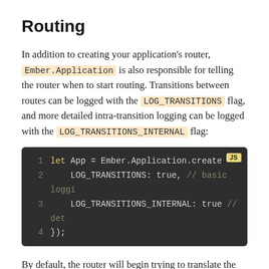Routing
In addition to creating your application's router, Ember.Application is also responsible for telling the router when to start routing. Transitions between routes can be logged with the LOG_TRANSITIONS flag, and more detailed intra-transition logging can be logged with the LOG_TRANSITIONS_INTERNAL flag:
[Figure (screenshot): Code block showing JavaScript: let App = Ember.Application.create({ LOG_TRANSITIONS: true, // basic loggi LOG_TRANSITIONS_INTERNAL: true // det });]
By default, the router will begin trying to translate the current URL into application state once the browser emits the DOMContentReady event. If you need to defer routing, you can call the application's